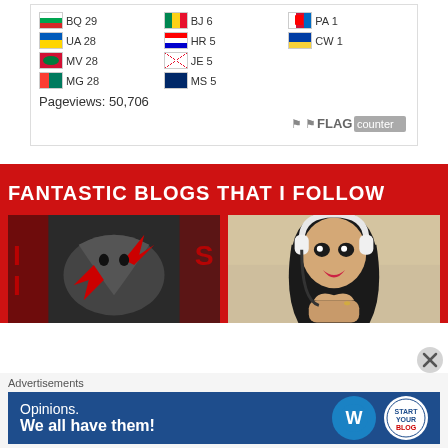[Figure (screenshot): Flag counter widget showing country flags with visitor counts: BQ 29, UA 28, MV 28, MG 28, BJ 6, HR 5, JE 5, MS 5, PA 1, CW 1. Pageviews: 50,706. FLAG counter logo at bottom right.]
FANTASTIC BLOGS THAT I FOLLOW
[Figure (illustration): Dark stylized illustration with red and black tones showing a bird/creature with red markings]
[Figure (illustration): Colorful illustration of a woman with dark hair wearing white headphones, holding hands together near face]
Advertisements
[Figure (screenshot): Advertisement banner with dark blue background. Text: 'Opinions. We all have them!' with WordPress logo circle and another circular logo on the right.]